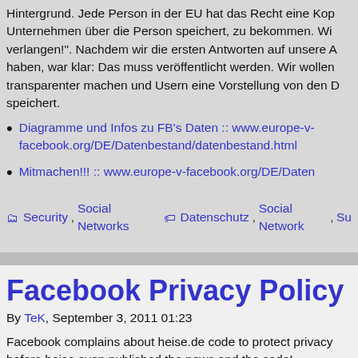Hintergrund. Jede Person in der EU hat das Recht eine Ko... Unternehmen über die Person speichert, zu bekommen. Wi... verlangen!". Nachdem wir die ersten Antworten auf unsere A... haben, war klar: Das muss veröffentlicht werden. Wir wollen... transparenter machen und Usern eine Vorstellung von den D... speichert.
Diagramme und Infos zu FB's Daten :: www.europe-v-facebook.org/DE/Datenbestand/datenbestand.html
Mitmachen!!! :: www.europe-v-facebook.org/DE/Daten...
Security, Social Networks   Datenschutz, Social Network, Su...
Facebook Privacy Policy
By TeK, September 3, 2011 01:23
Facebook complains about heise.de code to protect privacy... before heise even published the news and the code!
The prob is, that each Facebook button sends user tracking... the site, without clicking any 'like'/'share'... button. Heise im... a click-confirmation before sending any userdata to Face...